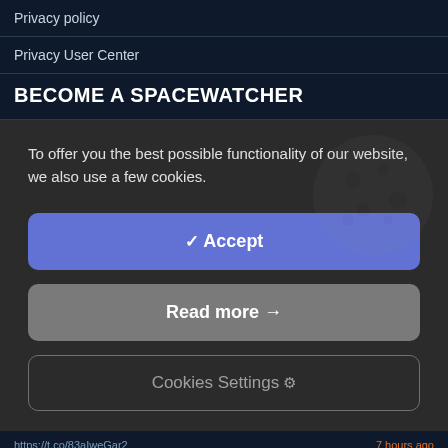Privacy policy
Privacy User Center
BECOME A SPACEWATCHER
To offer you the best possible functionality of our website, we also use a few cookies.
✓  Accept
Read more  →
Cookies Settings  ⚙
https://t.co/83aIweGar2  /  7 hours ago